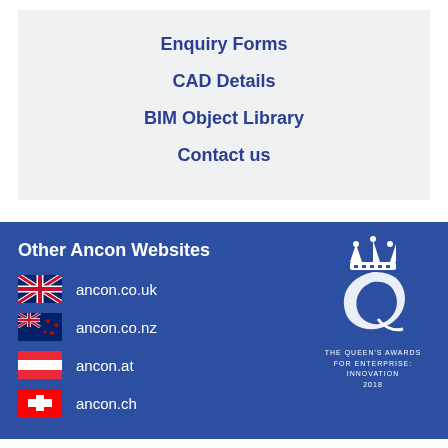Enquiry Forms
CAD Details
BIM Object Library
Contact us
Other Ancon Websites
ancon.co.uk
ancon.co.nz
ancon.at
ancon.ch
[Figure (logo): The Queen's Awards for Enterprise: Innovation 2018 logo with crown and stylized letter Q]